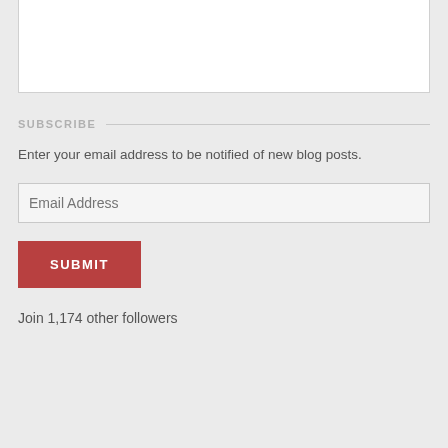SUBSCRIBE
Enter your email address to be notified of new blog posts.
Email Address
SUBMIT
Join 1,174 other followers